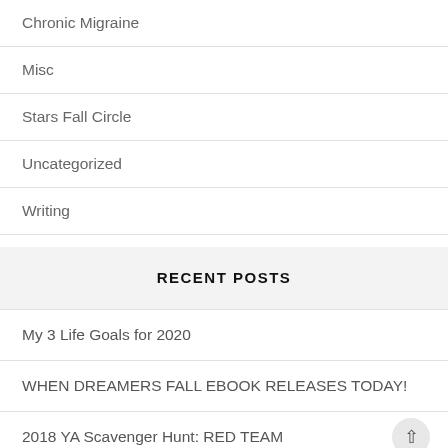Chronic Migraine
Misc
Stars Fall Circle
Uncategorized
Writing
RECENT POSTS
My 3 Life Goals for 2020
WHEN DREAMERS FALL EBOOK RELEASES TODAY!
2018 YA Scavenger Hunt: RED TEAM
The 2018 YA Scavenger Hunt Announcement!